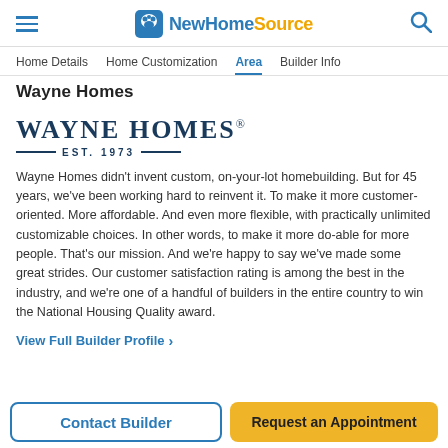NewHomeSource
Home Details  Home Customization  Area  Builder Info
Wayne Homes
[Figure (logo): Wayne Homes logo with text WAYNE HOMES EST. 1973]
Wayne Homes didn't invent custom, on-your-lot homebuilding. But for 45 years, we've been working hard to reinvent it. To make it more customer-oriented. More affordable. And even more flexible, with practically unlimited customizable choices. In other words, to make it more do-able for more people. That's our mission. And we're happy to say we've made some great strides. Our customer satisfaction rating is among the best in the industry, and we're one of a handful of builders in the entire country to win the National Housing Quality award.
View Full Builder Profile >
Contact Builder
Request an Appointment